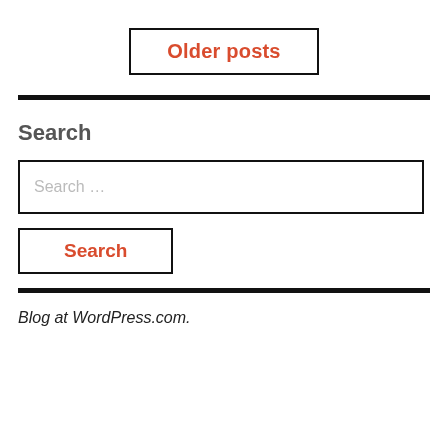Older posts
Search
Search …
Search
Blog at WordPress.com.